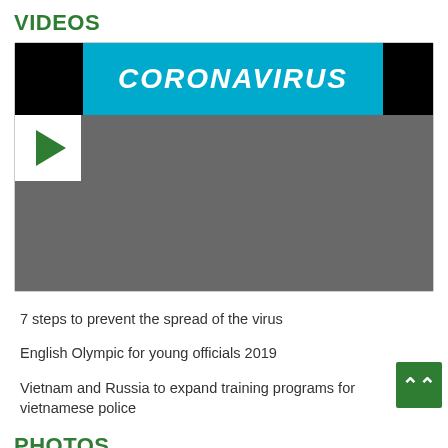VIDEOS
[Figure (screenshot): Video thumbnail showing a partially visible coronavirus-themed video with blue header displaying 'CORONAVIRUS' text in white, dark background below, and a green play button in the lower left corner.]
7 steps to prevent the spread of the virus
English Olympic for young officials 2019
Vietnam and Russia to expand training programs for vietnamese police
PHOTOS